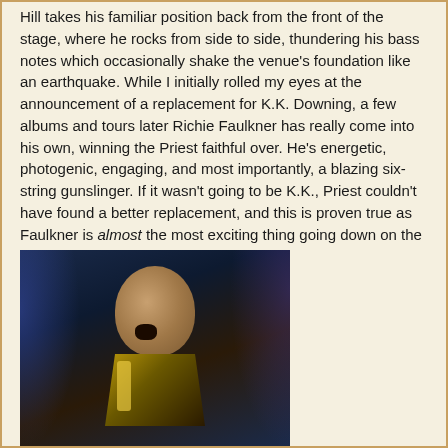Hill takes his familiar position back from the front of the stage, where he rocks from side to side, thundering his bass notes which occasionally shake the venue's foundation like an earthquake. While I initially rolled my eyes at the announcement of a replacement for K.K. Downing, a few albums and tours later Richie Faulkner has really come into his own, winning the Priest faithful over. He's energetic, photogenic, engaging, and most importantly, a blazing six-string gunslinger. If it wasn't going to be K.K., Priest couldn't have found a better replacement, and this is proven true as Faulkner is almost the most exciting thing going down on the stage this night.
[Figure (photo): Concert photo of a bald performer on stage, mouth open singing, wearing an ornate gold and black costume, shot against a dark blue stage background with dramatic lighting.]